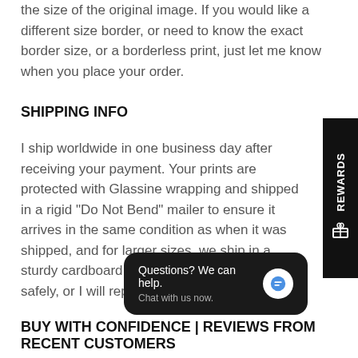the size of the original image. If you would like a different size border, or need to know the exact border size, or a borderless print, just let me know when you place your order.
SHIPPING INFO
I ship worldwide in one business day after receiving your payment. Your prints are protected with Glassine wrapping and shipped in a rigid "Do Not Bend" mailer to ensure it arrives in the same condition as when it was shipped, and for larger sizes, we ship in a sturdy cardboard tube. Your print will arrive safely, or I will replace it.
BUY WITH CONFIDENCE | REVIEWS FROM RECENT CUSTOMERS
"Great care and detail was taken to get this delivered